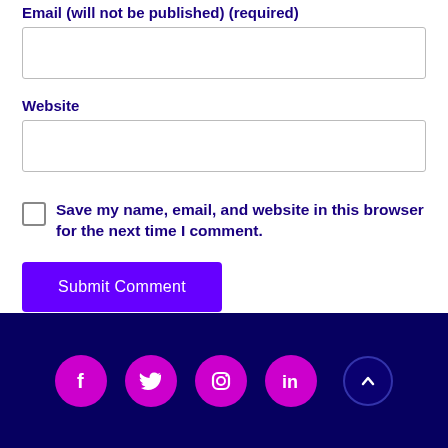Email (will not be published) (required)
[Figure (other): Empty text input box for Email field]
Website
[Figure (other): Empty text input box for Website field]
Save my name, email, and website in this browser for the next time I comment.
Submit Comment
[Figure (other): Footer with dark navy background containing pink circular social media icons for Facebook, Twitter, Instagram, LinkedIn, and a back-to-top arrow button]